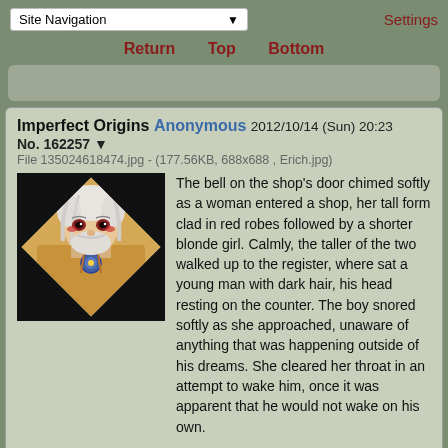Site Navigation | Settings
Return | Top | Bottom
Imperfect Origins Anonymous 2012/10/14 (Sun) 20:23 No. 162257
File 135024618474.jpg - (177.56KB, 688x688 , Erich.jpg)
[Figure (illustration): Anime-style illustration of an older male character with white hair, red eyes, beard, wearing a tan/yellow robe with a blue medallion, shown in diamond/rhombus crop against a black background.]
The bell on the shop's door chimed softly as a woman entered a shop, her tall form clad in red robes followed by a shorter blonde girl. Calmly, the taller of the two walked up to the register, where sat a young man with dark hair, his head resting on the counter. The boy snored softly as she approached, unaware of anything that was happening outside of his dreams. She cleared her throat in an attempt to wake him, once it was apparent that he would not wake on his own.

After a few seconds and a second attempt, the